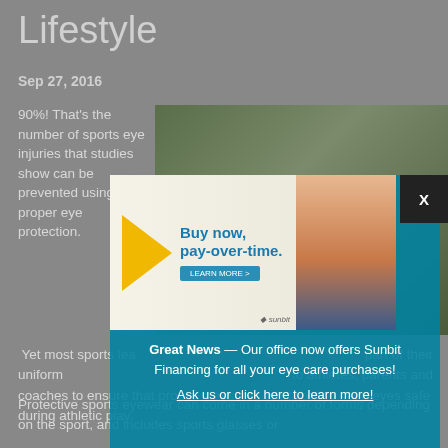Lifestyle
Sep 27, 2016
90%! That's the number of sports eye injuries that studies show can be prevented using proper eye protection.
[Figure (photo): Photo of a person using sports eyewear, partially obscured by a popup advertisement overlay]
[Figure (infographic): Sunbit financing advertisement popup: 'Buy now, pay-over-time.' with a LEARN MORE button and Sunbit logo. Bottom section reads: Great News — Our office now offers Sunbit Financing for all your eye care purchases! Ask us or click here to learn more!]
Yet most sports lea[gue organizers don't require eye protection as] part of their uniform[s. It's important to pass that information] to athletes, parents and coaches to ensure that proper measures are taken to keep eyes safe during athletic play.
Protective sports eyewear can come in a number of forms depending on the sport, and includes sports glasses or